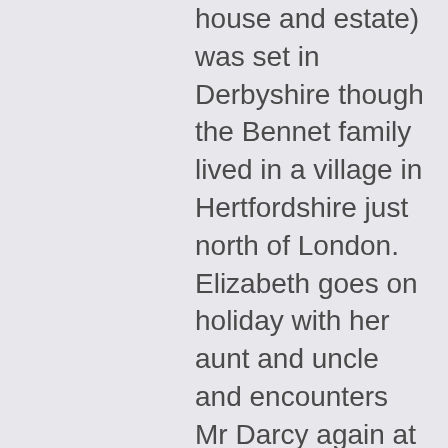house and estate) was set in Derbyshire though the Bennet family lived in a village in Hertfordshire just north of London. Elizabeth goes on holiday with her aunt and uncle and encounters Mr Darcy again at Pemberley and then he saves the family's reputation by finding her runaway sister – ahh so romantic!! Good to hear the weather is improving – it's always colder up in Yorkshire where my family live but should be milder